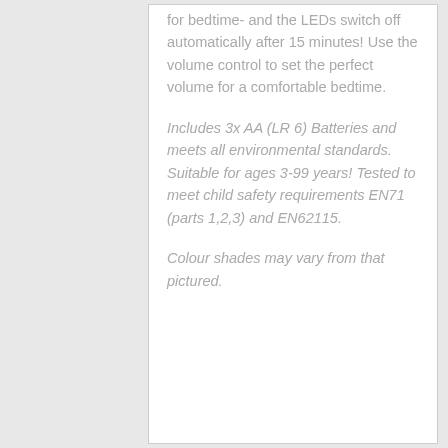for bedtime- and the LEDs switch off automatically after 15 minutes! Use the volume control to set the perfect volume for a comfortable bedtime.
Includes 3x AA (LR 6) Batteries and meets all environmental standards. Suitable for ages 3-99 years! Tested to meet child safety requirements EN71 (parts 1,2,3) and EN62115.
Colour shades may vary from that pictured.